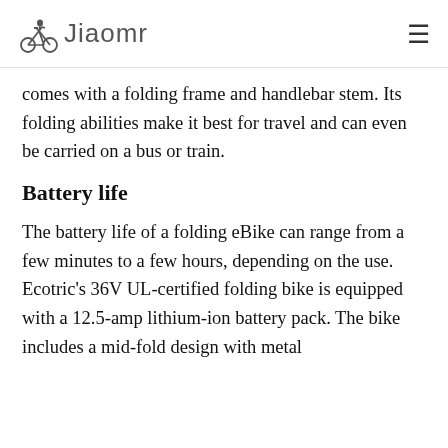Jiaomr
comes with a folding frame and handlebar stem. Its folding abilities make it best for travel and can even be carried on a bus or train.
Battery life
The battery life of a folding eBike can range from a few minutes to a few hours, depending on the use. Ecotric's 36V UL-certified folding bike is equipped with a 12.5-amp lithium-ion battery pack. The bike includes a mid-fold design with metal